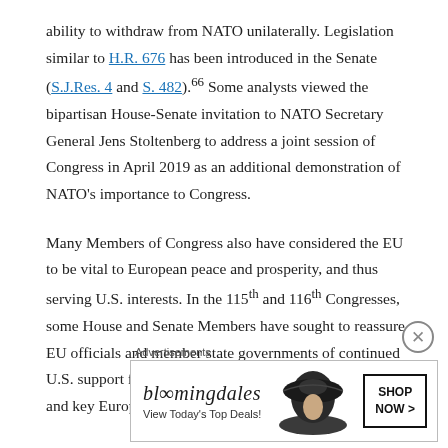ability to withdraw from NATO unilaterally. Legislation similar to H.R. 676 has been introduced in the Senate (S.J.Res. 4 and S. 482).⁶⁶ Some analysts viewed the bipartisan House-Senate invitation to NATO Secretary General Jens Stoltenberg to address a joint session of Congress in April 2019 as an additional demonstration of NATO's importance to Congress.
Many Members of Congress also have considered the EU to be vital to European peace and prosperity, and thus serving U.S. interests. In the 115th and 116th Congresses, some House and Senate Members have sought to reassure EU officials and member state governments of continued U.S. support for the EU, in part through visits to Brussels and key European...
[Figure (other): Bloomingdales advertisement banner with logo, 'View Today's Top Deals!' tagline, woman in hat image, and 'SHOP NOW >' button]